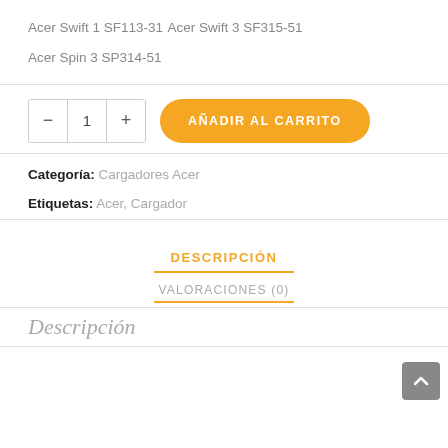Acer Swift 1 SF113-31
Acer Swift 3 SF315-51
Acer Spin 3 SP314-51
Categoría: Cargadores Acer
Etiquetas: Acer, Cargador
DESCRIPCIÓN
VALORACIONES (0)
Descripción